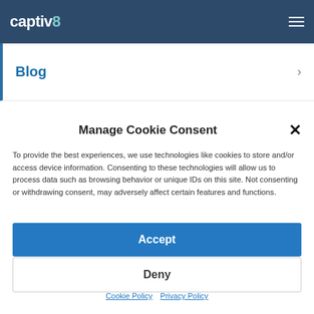captivX — Blog navigation header with hamburger menu
Blog >
Manage Cookie Consent
To provide the best experiences, we use technologies like cookies to store and/or access device information. Consenting to these technologies will allow us to process data such as browsing behavior or unique IDs on this site. Not consenting or withdrawing consent, may adversely affect certain features and functions.
Accept
Deny
Cookie Policy  Privacy Policy